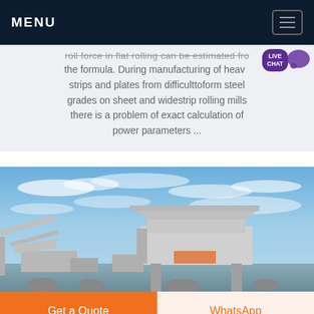MENU
roll force in flat rolling can be estimated from the formula. During manufacturing of heavy strips and plates from difficulttoform steel grades on sheet and widestrip rolling mills there is a problem of exact calculation of power parameters ...
[Figure (photo): Industrial heavy machinery / crushing equipment photographed against a blue sky with scattered clouds]
Get a Quote
WhatsApp